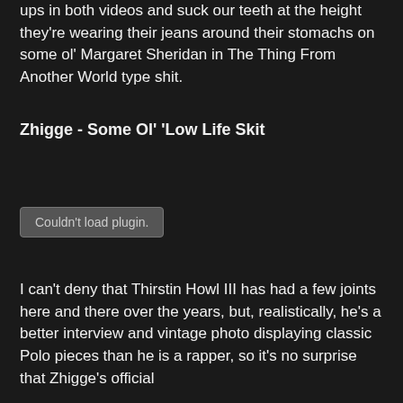ups in both videos and suck our teeth at the height they're wearing their jeans around their stomachs on some ol' Margaret Sheridan in The Thing From Another World type shit.
Zhigge - Some Ol' 'Low Life Skit
[Figure (other): Embedded media plugin placeholder showing 'Couldn't load plugin.' message in a grey box]
I can't deny that Thirstin Howl III has had a few joints here and there over the years, but, realistically, he's a better interview and vintage photo displaying classic Polo pieces than he is a rapper, so it's no surprise that Zhigge's official